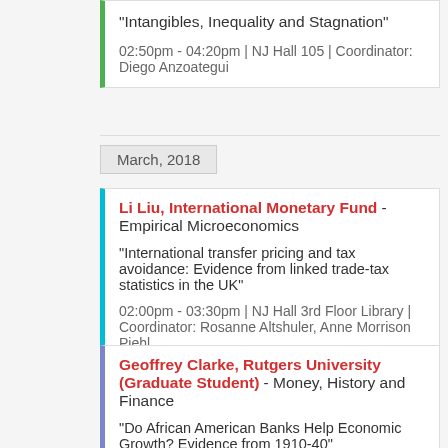"Intangibles, Inequality and Stagnation"
02:50pm - 04:20pm | NJ Hall 105 | Coordinator: Diego Anzoategui
March, 2018
Li Liu, International Monetary Fund - Empirical Microeconomics
"International transfer pricing and tax avoidance: Evidence from linked trade-tax statistics in the UK"
02:00pm - 03:30pm | NJ Hall 3rd Floor Library | Coordinator: Rosanne Altshuler, Anne Morrison Piehl
Geoffrey Clarke, Rutgers University (Graduate Student) - Money, History and Finance
"Do African American Banks Help Economic Growth? Evidence from 1910-40"